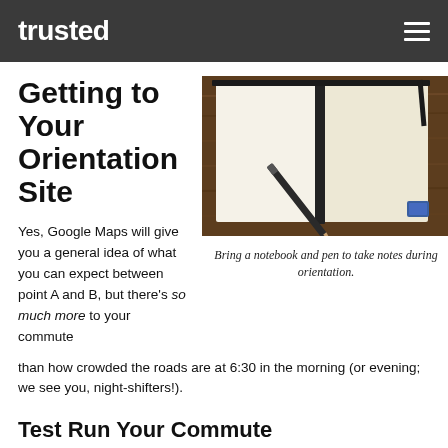trusted
Getting to Your Orientation Site
[Figure (photo): Open notebook with a mechanical pencil lying across the blank white pages, on a wooden surface with a small blue eraser visible in the corner.]
Bring a notebook and pen to take notes during orientation.
Yes, Google Maps will give you a general idea of what you can expect between point A and B, but there's so much more to your commute than how crowded the roads are at 6:30 in the morning (or evening; we see you, night-shifters!).
Test Run Your Commute
Test drive a couple of routes you can take to work—what